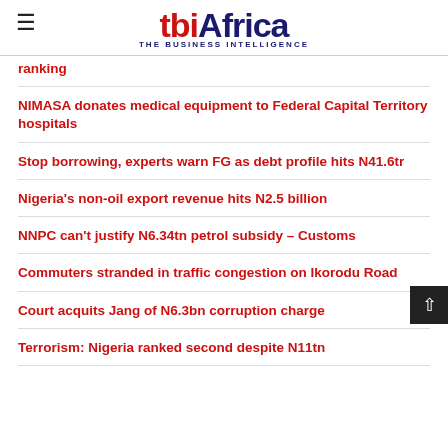tbi Africa — THE BUSINESS INTELLIGENCE
ranking
NIMASA donates medical equipment to Federal Capital Territory hospitals
Stop borrowing, experts warn FG as debt profile hits N41.6tr
Nigeria's non-oil export revenue hits N2.5 billion
NNPC can't justify N6.34tn petrol subsidy – Customs
Commuters stranded in traffic congestion on Ikorodu Road
Court acquits Jang of N6.3bn corruption charge
Terrorism: Nigeria ranked second despite N11tn